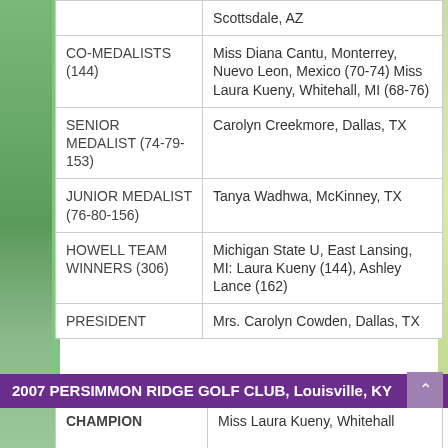| Category | Details |
| --- | --- |
|  | Scottsdale, AZ |
| CO-MEDALISTS (144) | Miss Diana Cantu, Monterrey, Nuevo Leon, Mexico (70-74) Miss Laura Kueny, Whitehall, MI (68-76) |
| SENIOR MEDALIST (74-79-153) | Carolyn Creekmore, Dallas, TX |
| JUNIOR MEDALIST (76-80-156) | Tanya Wadhwa, McKinney, TX |
| HOWELL TEAM WINNERS (306) | Michigan State U, East Lansing, MI: Laura Kueny (144), Ashley Lance (162) |
| PRESIDENT | Mrs. Carolyn Cowden, Dallas, TX |
2007 PERSIMMON RIDGE GOLF CLUB, Louisville, KY
| Category | Details |
| --- | --- |
| CHAMPION | Miss Laura Kueny, Whitehall |